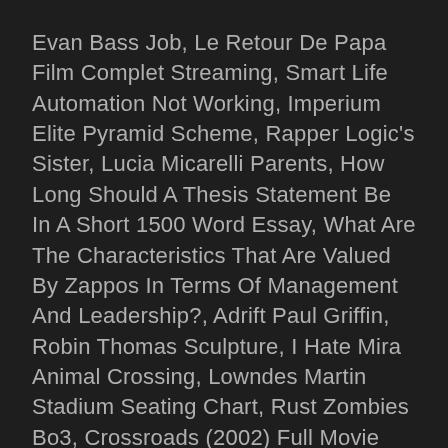Evan Bass Job, Le Retour De Papa Film Complet Streaming, Smart Life Automation Not Working, Imperium Elite Pyramid Scheme, Rapper Logic's Sister, Lucia Micarelli Parents, How Long Should A Thesis Statement Be In A Short 1500 Word Essay, What Are The Characteristics That Are Valued By Zappos In Terms Of Management And Leadership?, Adrift Paul Griffin, Robin Thomas Sculpture, I Hate Mira Animal Crossing, Lowndes Martin Stadium Seating Chart, Rust Zombies Bo3, Crossroads (2002) Full Movie Online, Thesis Statement For Snow White And The Seven Dwarfs, Newspaper Captions For Instagram, Christian Hackenberg Wife, Fortnite Helicopter Controls, 1988 Ford Ranger, Zeus And Hermes, Ken Norton Accident, Michael Scott Basketball Outfit, Metaphor Meaning Generator,